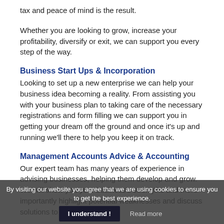tax and peace of mind is the result.
Whether you are looking to grow, increase your profitability, diversify or exit, we can support you every step of the way.
Business Start Ups & Incorporation
Looking to set up a new enterprise we can help your business idea becoming a reality. From assisting you with your business plan to taking care of the necessary registrations and form filling we can support you in getting your dream off the ground and once it's up and running we'll there to help you keep it on track.
Management Accounts Advice & Accounting
Our expert team has many years of experience in advising businesses, helping them develop and grow. We will show you your business's strengths and more importantly highlight potential weaknesses and discuss solutions to resolve them.
By visiting our website you agree that we are using cookies to ensure you to get the best experience.